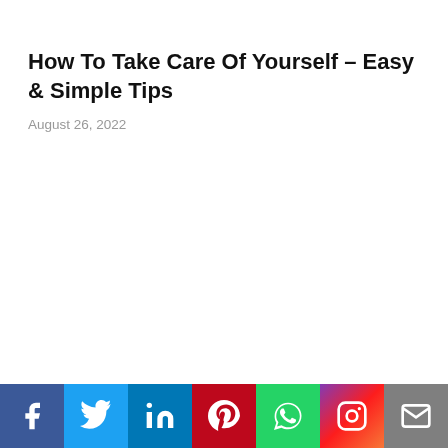How To Take Care Of Yourself – Easy & Simple Tips
August 26, 2022
Social share bar: Facebook, Twitter, LinkedIn, Pinterest, WhatsApp, Instagram, Email